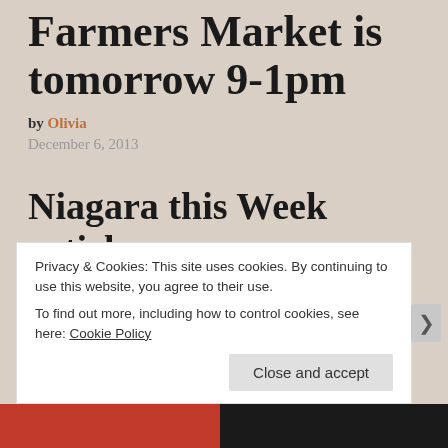Farmers Market is tomorrow 9-1pm
by Olivia
December 6, 2013
Niagara this Week article
Grimsby Farmers’ Market returns for Christmas
Privacy & Cookies: This site uses cookies. By continuing to use this website, you agree to their use.
To find out more, including how to control cookies, see here: Cookie Policy
Close and accept